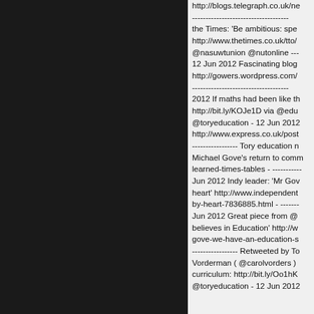http://blogs.telegraph.co.uk/ne
------------------------------------
the Times: 'Be ambitious: spe
http://www.thetimes.co.uk/tto/
@nasuwtunion @nutonline ---
12 Jun 2012 Fascinating blog
http://gowers.wordpress.com/
------------------------------------
2012 If maths had been like th
http://bit.ly/KOJe1D via @edu
@toryeducation - 12 Jun 2012
http://www.express.co.uk/post
----------------- Tory education n
Michael Gove's return to comm
learned-times-tables - -----------
Jun 2012 Indy leader: 'Mr Gov
heart' http://www.independent
by-heart-7836885.html - -------
Jun 2012 Great piece from @
believes in Education' http://w
gove-we-have-an-education-s
----------------- Retweeted by To
Vorderman ( @carolvorders )
curriculum: http://bit.ly/Oo1hK
@toryeducation - 12 Jun 2012